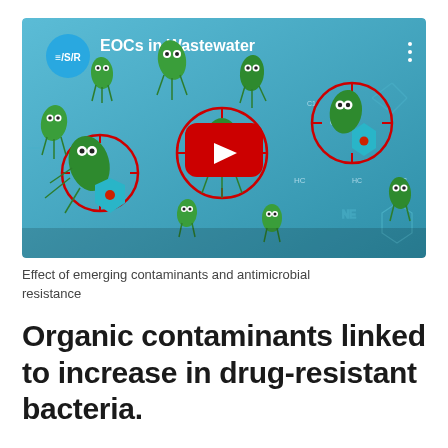[Figure (screenshot): YouTube video thumbnail showing animated cartoon bacteria (green creatures with eyes and flagella) on a blue background with chemical structure diagrams. Red crosshair circles target some bacteria. ESR logo (circle with E/S/R) and title 'EOCs in Wastewater' visible at top left. Red YouTube play button in center.]
Effect of emerging contaminants and antimicrobial resistance
Organic contaminants linked to increase in drug-resistant bacteria.